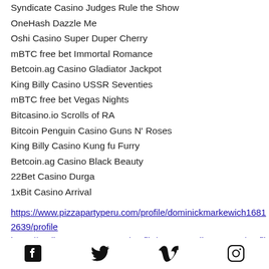Syndicate Casino Judges Rule the Show
OneHash Dazzle Me
Oshi Casino Super Duper Cherry
mBTC free bet Immortal Romance
Betcoin.ag Casino Gladiator Jackpot
King Billy Casino USSR Seventies
mBTC free bet Vegas Nights
Bitcasino.io Scrolls of RA
Bitcoin Penguin Casino Guns N' Roses
King Billy Casino Kung fu Furry
Betcoin.ag Casino Black Beauty
22Bet Casino Durga
1xBit Casino Arrival
https://www.pizzapartyperu.com/profile/dominickmarkewich16812639/profile
https://ru.diegomarquete.com/profile/tanasgueglia1160345/profile
https://en.kateryna-body.com/profile/manualgenz1813205/profile
Social media icons: Facebook, Twitter, Vimeo, Instagram